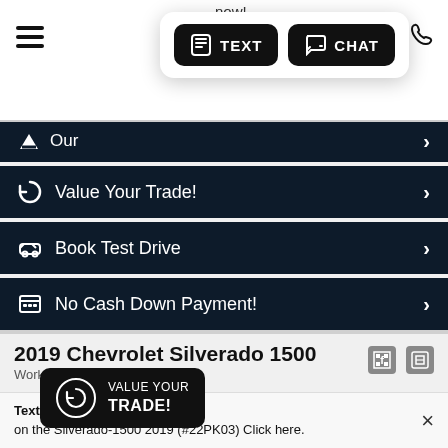[Figure (screenshot): Top navigation bar with hamburger menu icon, 'now!' text, TEXT and CHAT buttons popup, wrench and phone icons top right]
Our [...]
Value Your Trade!
Book Test Drive
No Cash Down Payment!
2019 Chevrolet Silverado 1500
Work Truck
[Figure (infographic): Value Your Trade! popup overlay with circular arrow icon]
|  | Label | Value |
| --- | --- | --- |
|  | Trim Level: | Silverado 1500 |
|  | Trim Level: | Work Truck |
|  | Category: | Trucks |
Text-me your best price now on the Silverado-1500 2019 (#22PK03) Click here.